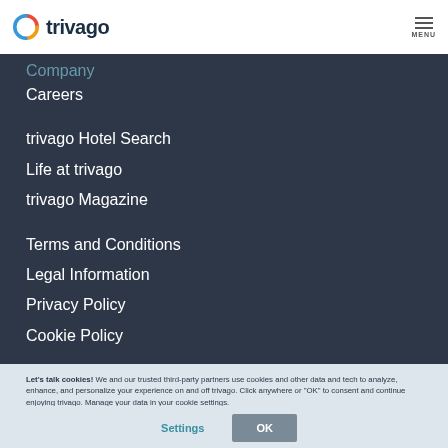trivago MENU
Company
Careers
trivago Hotel Search
Life at trivago
trivago Magazine
Terms and Conditions
Legal Information
Privacy Policy
Cookie Policy
Let's talk cookies! We and our trusted third-party partners use cookies and other data and tech to analyze, enhance, and personalize your experience on and off trivago. Click anywhere or "OK" to consent and continue enjoying trivago. Manage your data in your cookie settings.
Settings
OK